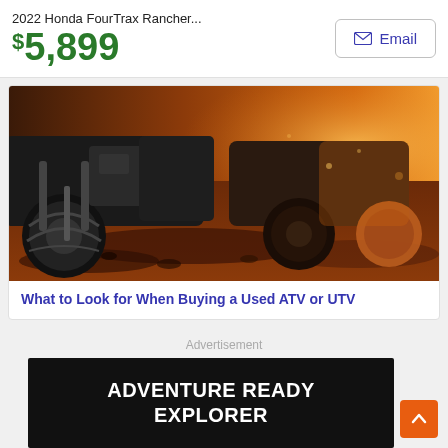2022 Honda FourTrax Rancher...
$5,899
[Figure (photo): Close-up photo of ATV four-wheelers riding through muddy terrain with orange dusty light]
What to Look for When Buying a Used ATV or UTV
Advertisement
[Figure (infographic): Black advertisement banner with bold white text reading ADVENTURE READY EXPLORER]